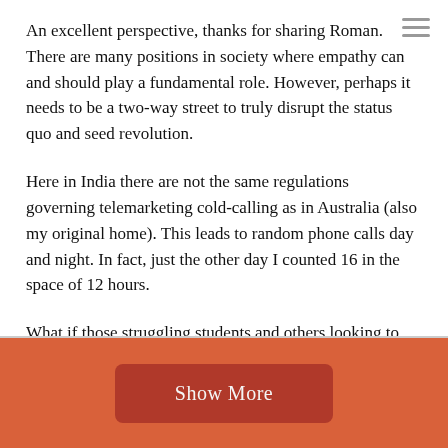An excellent perspective, thanks for sharing Roman. There are many positions in society where empathy can and should play a fundamental role. However, perhaps it needs to be a two-way street to truly disrupt the status quo and seed revolution.
Here in India there are not the same regulations governing telemarketing cold-calling as in Australia (also my original home). This leads to random phone calls day and night. In fact, just the other day I counted 16 in the space of 12 hours.
What if those struggling students and others looking to make a quick buck or two themselves paused for a moment of empathy. Instead of interrupting and disrupting the lives of others, took a step back and tried to empathise with the